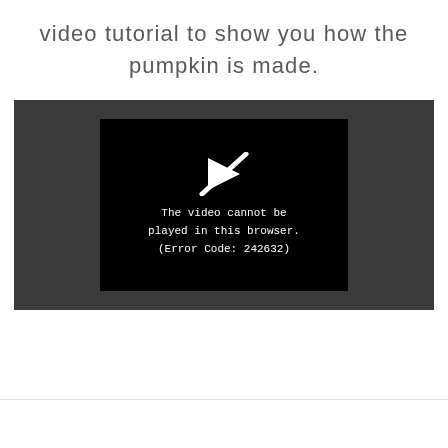video tutorial to show you how the pumpkin is made.
[Figure (screenshot): Embedded video player showing a black screen with a crossed-out play icon and the error message: The video cannot be played in this browser. (Error Code: 242632)]